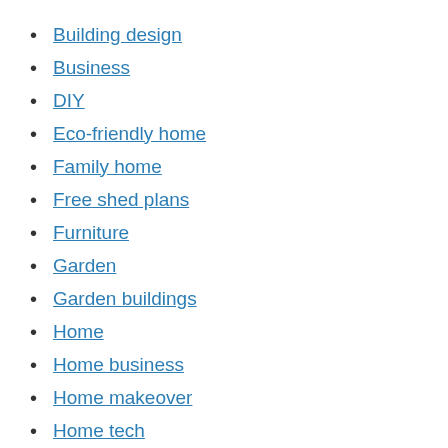Building design
Business
DIY
Eco-friendly home
Family home
Free shed plans
Furniture
Garden
Garden buildings
Home
Home business
Home makeover
Home tech
How-to guides